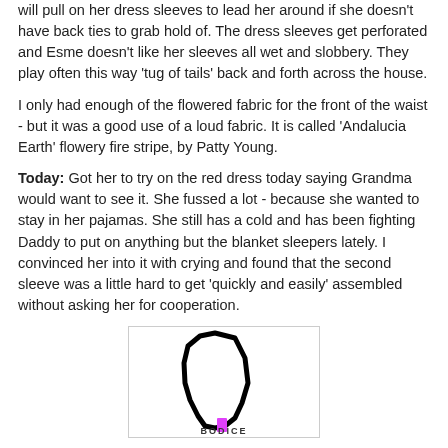will pull on her dress sleeves to lead her around if she doesn't have back ties to grab hold of. The dress sleeves get perforated and Esme doesn't like her sleeves all wet and slobbery. They play often this way 'tug of tails' back and forth across the house.
I only had enough of the flowered fabric for the front of the waist - but it was a good use of a loud fabric. It is called 'Andalucia Earth' flowery fire stripe, by Patty Young.
Today: Got her to try on the red dress today saying Grandma would want to see it. She fussed a lot - because she wanted to stay in her pajamas. She still has a cold and has been fighting Daddy to put on anything but the blanket sleepers lately. I convinced her into it with crying and found that the second sleeve was a little hard to get 'quickly and easily' assembled without asking her for cooperation.
[Figure (illustration): A sewing pattern piece outline labeled BODICE, with a magenta/pink accent mark at the bottom, shown on white background inside a light-bordered box.]